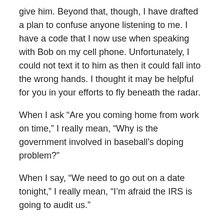give him.  Beyond that, though, I have drafted a plan to confuse anyone listening to me.  I have a code that I now use when speaking with Bob on my cell phone.  Unfortunately, I could not text it to him as then it could fall into the wrong hands.  I thought it may be helpful for you in your efforts to fly beneath the radar.
When I ask “Are you coming home from work on time,” I really mean, “Why is the government involved in baseball’s doping problem?”
When I say, “We need to go out on a date tonight,” I really mean, “I’m afraid the IRS is going to audit us.”
When I say, “It’s raining here,” I really mean, “I can’t believe our taxes are so stinking high.”
Yesterday when I was on the phone with Bob, I suddenly